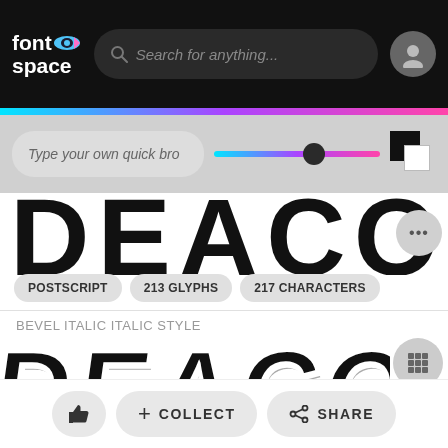fontspace — Search for anything...
[Figure (screenshot): Font preview showing large decorative bold black rounded letters partially visible, first font style]
POSTSCRIPT   213 GLYPHS   217 CHARACTERS
BEVEL ITALIC ITALIC STYLE
[Figure (screenshot): Font preview showing DEACON in large bold italic black outlined decorative letters]
POSTSCRIPT   213 GLYPHS   217 CHARACTERS
+ COLLECT   SHARE